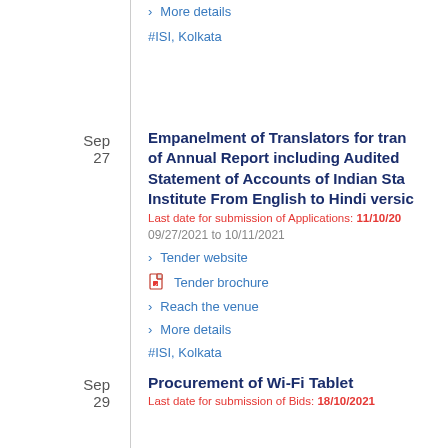> More details
#ISI, Kolkata
Sep 27
Empanelment of Translators for translation of Annual Report including Audited Statement of Accounts of Indian Statistical Institute From English to Hindi version
Last date for submission of Applications: 11/10/2021
09/27/2021 to 10/11/2021
> Tender website
[pdf] Tender brochure
> Reach the venue
> More details
#ISI, Kolkata
Sep 29
Procurement of Wi-Fi Tablet
Last date for submission of Bids: 18/10/2021